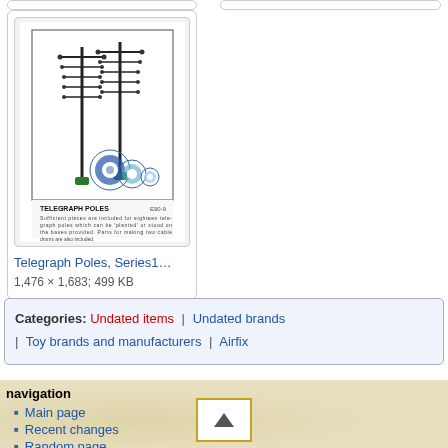[Figure (illustration): Airfix Telegraph Poles model kit box art showing two tall telegraph poles with crossbars and insulators, three circular cable drums at the base, product text 'TELEGRAPH POLES' and description text below.]
Telegraph Poles, Series1...
1,476 × 1,683; 499 KB
Categories: Undated items | Undated brands | Toy brands and manufacturers | Airfix
navigation
Main page
Recent changes
Random page
Help about MediaWiki